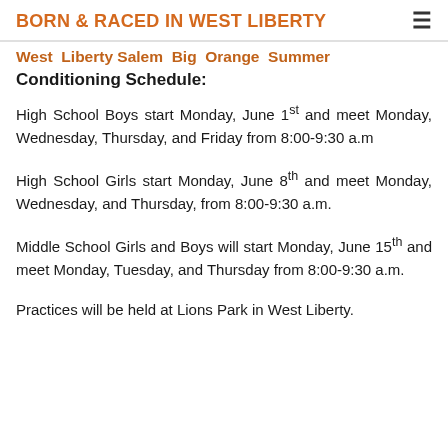BORN & RACED IN WEST LIBERTY
West Liberty Salem Big Orange Summer Conditioning Schedule:
High School Boys start Monday, June 1st and meet Monday, Wednesday, Thursday, and Friday from 8:00-9:30 a.m
High School Girls start Monday, June 8th and meet Monday, Wednesday, and Thursday, from 8:00-9:30 a.m.
Middle School Girls and Boys will start Monday, June 15th and meet Monday, Tuesday, and Thursday from 8:00-9:30 a.m.
Practices will be held at Lions Park in West Liberty.